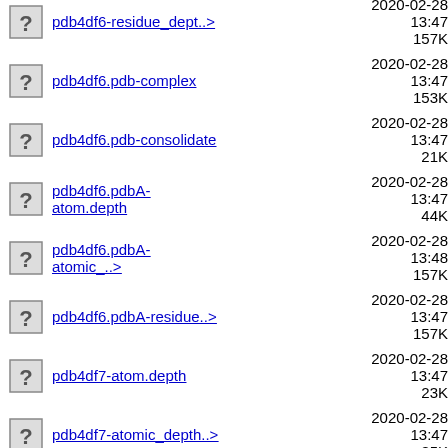pdb4df6-residue_dept..>  2020-02-28 13:47  157K
pdb4df6.pdb-complex  2020-02-28 13:47  153K
pdb4df6.pdb-consolidate  2020-02-28 13:47  21K
pdb4df6.pdbA-atom.depth  2020-02-28 13:47  44K
pdb4df6.pdbA-atomic_..>  2020-02-28 13:48  157K
pdb4df6.pdbA-residue..>  2020-02-28 13:47  157K
pdb4df7-atom.depth  2020-02-28 13:47  23K
pdb4df7-atomic_depth..>  2020-02-28 13:47  85K
pdb4df7-residue.depth  2020-02-28 13:47  10K
pdb4df7-residue_dept..>  2020-02-28 13:48  85K
pdb4df7.pdb-complex  2020-02-28 13:47  83K
pdb4df7.pdb-consolidate  2020-02-28  10K